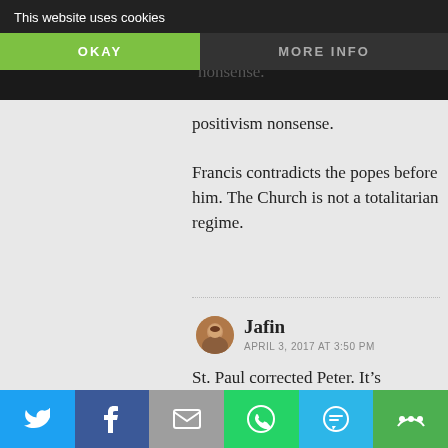This website uses cookies | OKAY | MORE INFO
APRIL 3, 2017 AT 10:05 AM
...nough with this papal positivism nonsense. Francis contradicts the popes before him. The Church is not a totalitarian regime.
Jafin
APRIL 3, 2017 AT 3:50 PM
St. Paul corrected Peter. It's recorded in Galatians chapter 2. St. Catherine of Siena
Twitter | Facebook | Email | WhatsApp | SMS | More